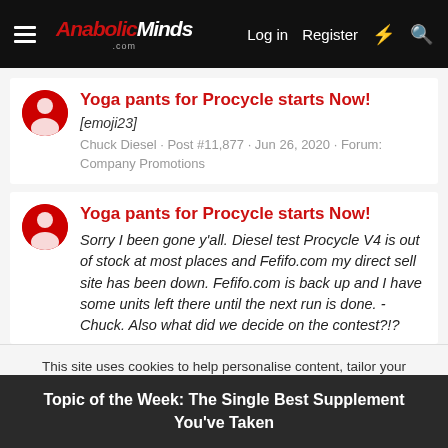AnabolicMinds.com — Log in  Register
Yoga pants for Procycle starts Now!
[emoji23]
Chuck Diesel · Post #11,877 · Jun 26, 2020 · Forum: Company Promotions
Yoga pants for Procycle starts Now!
Sorry I been gone y'all. Diesel test Procycle V4 is out of stock at most places and Fefifo.com my direct sell site has been down. Fefifo.com is back up and I have some units left there until the next run is done. - Chuck. Also what did we decide on the contest?!?
This site uses cookies to help personalise content, tailor your experience and to keep you logged in if you register.
By continuing to use this site, you are consenting to our use of cookies.
Topic of the Week: The Single Best Supplement You've Taken